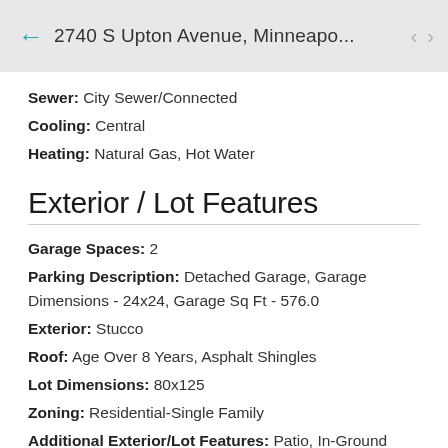← 2740 S Upton Avenue, Minneapo... < >
Sewer: City Sewer/Connected
Cooling: Central
Heating: Natural Gas, Hot Water
Exterior / Lot Features
Garage Spaces: 2
Parking Description: Detached Garage, Garage Dimensions - 24x24, Garage Sq Ft - 576.0
Exterior: Stucco
Roof: Age Over 8 Years, Asphalt Shingles
Lot Dimensions: 80x125
Zoning: Residential-Single Family
Additional Exterior/Lot Features: Patio, In-Ground Sprinkler, Tree Coverage - Medium, Corner Lot, Public Transit (w/in 6 blks), Road Frontage - City, Curbs, Paved